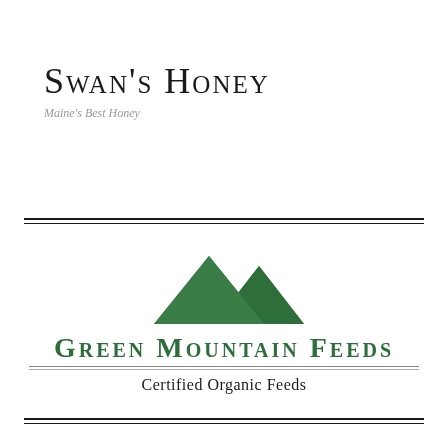Swan's Honey
Maine's Best Honey
[Figure (logo): Green Mountain Feeds logo with three green mountain triangles above the text GREEN MOUNTAIN FEEDS in dark green small-caps, a horizontal rule, and subtitle Certified Organic Feeds]